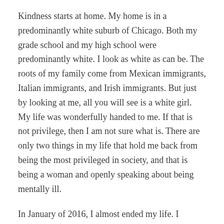Kindness starts at home. My home is in a predominantly white suburb of Chicago. Both my grade school and my high school were predominantly white. I look as white as can be. The roots of my family come from Mexican immigrants, Italian immigrants, and Irish immigrants. But just by looking at me, all you will see is a white girl. My life was wonderfully handed to me. If that is not privilege, then I am not sure what is. There are only two things in my life that hold me back from being the most privileged in society, and that is being a woman and openly speaking about being mentally ill.
In January of 2016, I almost ended my life. I planned it, I took action on it, but then I stopped myself. I then looked in the mirror, and who I saw was not the same girl that I had been up until then. I wanted to die. The bullying at school overtook me. The fighting I had done for so long felt useless. Yet I live a wonderful life in a world where I am privileged. I know that if I